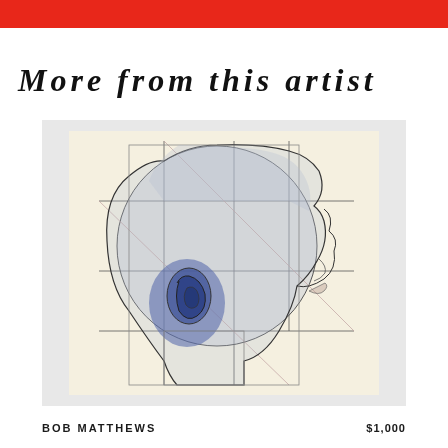More from this artist
[Figure (illustration): Artwork showing a geometric, schematic side-profile drawing of a human head with construction lines, circles, and rectangles overlaid in pencil/graphite on a cream background. A realistic blue ear is depicted on the left side of the head. The face faces right in profile. The work is by Bob Matthews.]
BOB MATTHEWS
$1,000